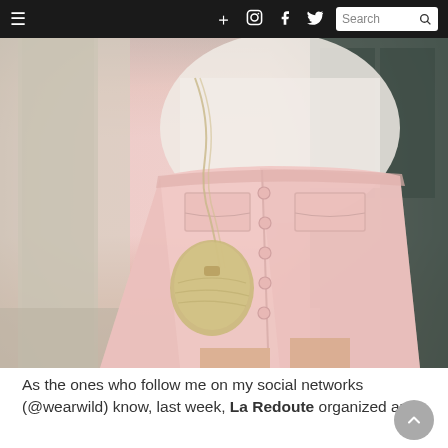≡  +  [instagram]  f  [twitter]  Search
[Figure (photo): A person wearing a pale pink button-front mini skirt with flap pockets and a gold chain-strap crossbody bag, standing outdoors near a stone column and dark door.]
As the ones who follow me on my social networks (@wearwild) know, last week, La Redoute organized an